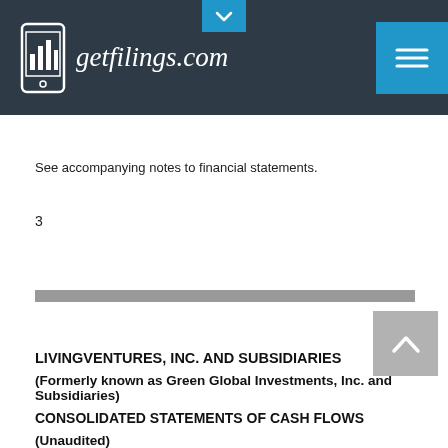getfilings.com
See accompanying notes to financial statements.
3
LIVINGVENTURES, INC. AND SUBSIDIARIES
(Formerly known as Green Global Investments, Inc. and Subsidiaries)
CONSOLIDATED STATEMENTS OF CASH FLOWS
(Unaudited)